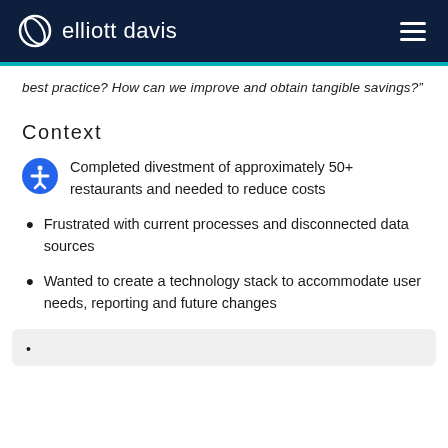elliott davis
best practice? How can we improve and obtain tangible savings?”
Context
Completed divestment of approximately 50+ restaurants and needed to reduce costs
Frustrated with current processes and disconnected data sources
Wanted to create a technology stack to accommodate user needs, reporting and future changes